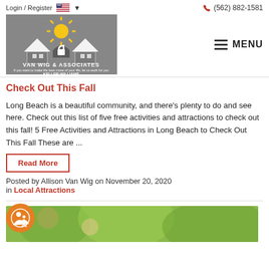Login / Register  🇺🇸 ▾   (562) 882-1581
[Figure (logo): Van Wig & Associates Keller Williams Coastal Properties logo on grey background]
Check Out This Fall
Long Beach is a beautiful community, and there's plenty to do and see here. Check out this list of five free activities and attractions to check out this fall! 5 Free Activities and Attractions in Long Beach to Check Out This Fall These are ...
Read More
Posted by Allison Van Wig on November 20, 2020 in Local Attractions
[Figure (photo): Partial view of next article with accessibility icon and photo of people smiling outdoors]